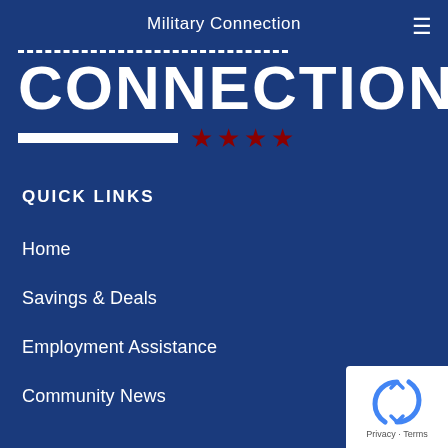Military Connection
[Figure (logo): Military Connection logo with dashed line above, large bold white text 'CONNECTION', white bar and four dark red stars below]
QUICK LINKS
Home
Savings & Deals
Employment Assistance
Community News
[Figure (logo): reCAPTCHA badge with blue circular arrow icon and 'Privacy - Terms' text on white background]